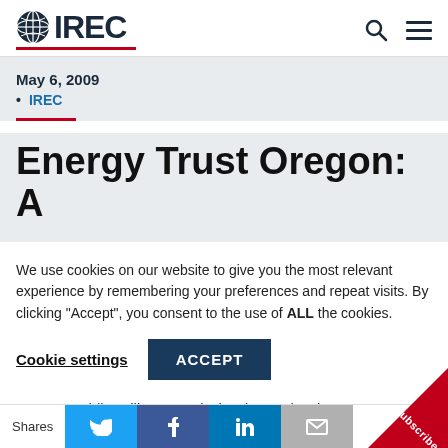IREC
May 6, 2009
IREC
Energy Trust Oregon: A
We use cookies on our website to give you the most relevant experience by remembering your preferences and repeat visits. By clicking “Accept”, you consent to the use of ALL the cookies.
Cookie settings   ACCEPT
Oregon Public Utility Commission (OPUC) to inve
Shares